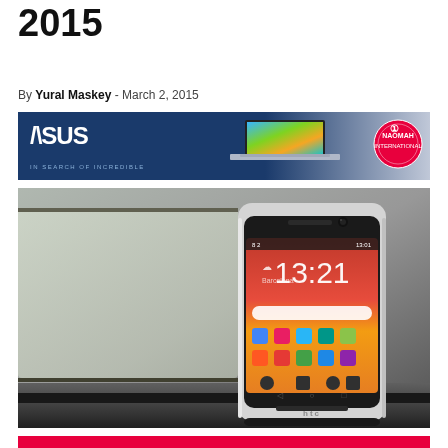2015
By Yural Maskey - March 2, 2015
[Figure (photo): ASUS advertisement banner with laptop image and Naomah International badge]
[Figure (photo): HTC One M9 smartphone photograph showing the device with time 13:21 displayed on screen, placed on a surface with blurred background]
[Figure (other): Partial red banner at bottom of page]